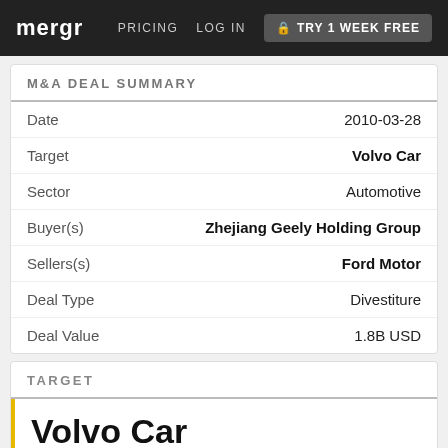mergr | PRICING | LOG IN | TRY 1 WEEK FREE
M&A DEAL SUMMARY
| Field | Value |
| --- | --- |
| Date | 2010-03-28 |
| Target | Volvo Car |
| Sector | Automotive |
| Buyer(s) | Zhejiang Geely Holding Group |
| Sellers(s) | Ford Motor |
| Deal Type | Divestiture |
| Deal Value | 1.8B USD |
TARGET
Volvo Car
Gothenburg, Sweden
website